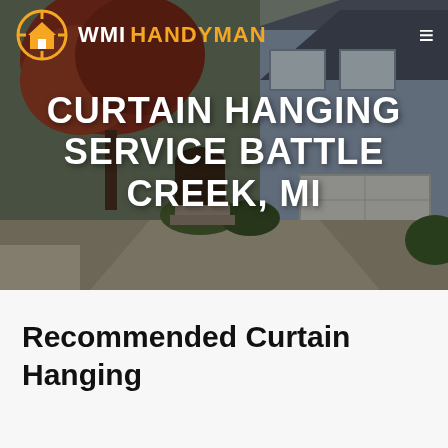[Figure (screenshot): Hero background photograph of a large suburban house with blue-gray siding, a two-car garage, and autumn trees with red/orange leaves in the foreground. A driveway is visible.]
WMI HANDYMAN
CURTAIN HANGING SERVICE BATTLE CREEK, MI
Recommended Curtain Hanging